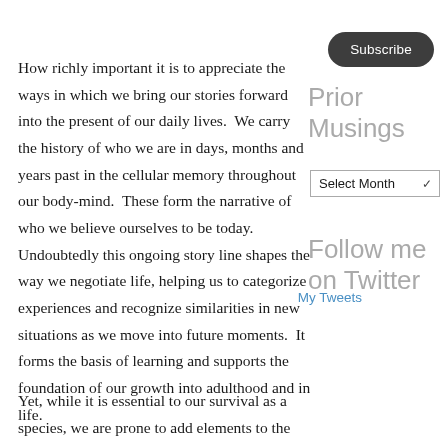Subscribe
Prior Musings
Select Month
Follow me on Twitter
My Tweets
How richly important it is to appreciate the ways in which we bring our stories forward into the present of our daily lives.  We carry the history of who we are in days, months and years past in the cellular memory throughout our body-mind.  These form the narrative of who we believe ourselves to be today.  Undoubtedly this ongoing story line shapes the way we negotiate life, helping us to categorize experiences and recognize similarities in new situations as we move into future moments.  It forms the basis of learning and supports the foundation of our growth into adulthood and in life.
Yet, while it is essential to our survival as a species, we are prone to add elements to the